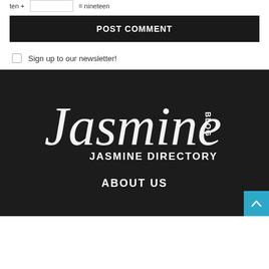ten + [input] = nineteen
POST COMMENT
Sign up to our newsletter!
[Figure (logo): Jasmine Blog / Jasmine Directory logo in white script and sans-serif text on dark background]
ABOUT US